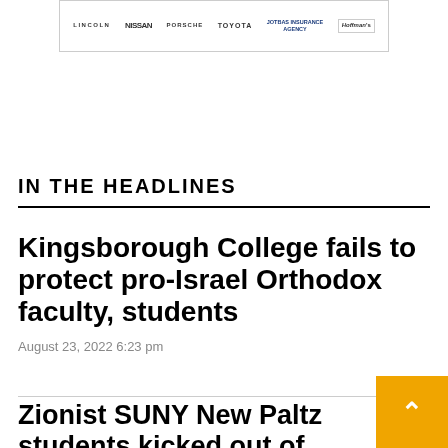[Figure (logo): Advertisement banner with car brand logos: Lincoln, Nissan, Porsche, Toyota, Jotbas Insurance Agency, Hoffman's]
IN THE HEADLINES
Kingsborough College fails to protect pro-Israel Orthodox faculty, students
August 23, 2022 6:23 pm
Zionist SUNY New Paltz students kicked out of sexu...